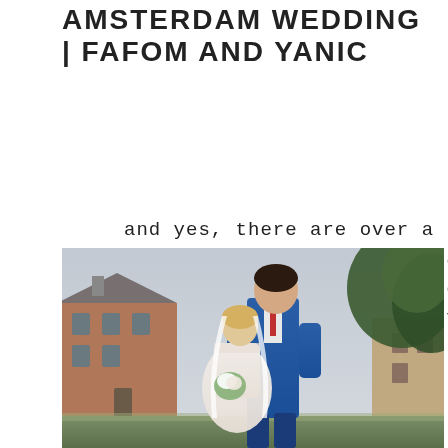AMSTERDAM WEDDING | FAFOM AND YANIC
and yes, there are over a million words in our language but for some reasons none of them can describe the way you
[Figure (photo): Wedding photo of a couple. The groom in a blue suit leans over the bride in a white lace dress with a veil. They are in an intimate pose outside with a brick building on the left and trees on the right under an overcast sky.]